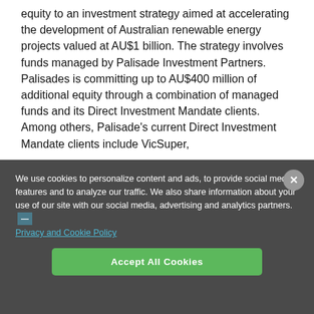equity to an investment strategy aimed at accelerating the development of Australian renewable energy projects valued at AU$1 billion. The strategy involves funds managed by Palisade Investment Partners. Palisades is committing up to AU$400 million of additional equity through a combination of managed funds and its Direct Investment Mandate clients. Among others, Palisade's current Direct Investment Mandate clients include VicSuper,
We use cookies to personalize content and ads, to provide social media features and to analyze our traffic. We also share information about your use of our site with our social media, advertising and analytics partners. — Privacy and Cookie Policy
Accept All Cookies